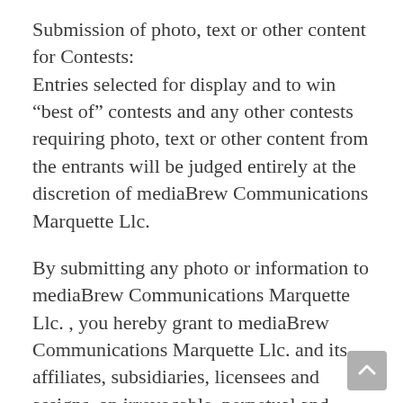Submission of photo, text or other content for Contests: Entries selected for display and to win “best of” contests and any other contests requiring photo, text or other content from the entrants will be judged entirely at the discretion of mediaBrew Communications Marquette Llc.
By submitting any photo or information to mediaBrew Communications Marquette Llc. , you hereby grant to mediaBrew Communications Marquette Llc. and its affiliates, subsidiaries, licensees and assigns, an irrevocable, perpetual and royalty-free right to use, reproduce, edit, display, transmit, prepare derivative works of, modify, publish and otherwise make use of the submitted photo or other information in any and